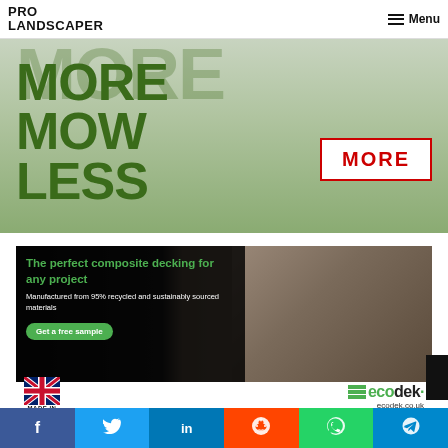PRO LANDSCAPER | Menu
[Figure (advertisement): Green lawn mower advertisement banner with bold text 'MORE MOW LESS' in dark green and a red-bordered 'MORE' button]
[Figure (advertisement): Ecodek composite decking advertisement showing outdoor furniture on decking with text: 'The perfect composite decking for any project. Manufactured from 95% recycled and sustainably sourced materials. Get a free sample.' With Made in Britain logo and ecodek.co.uk branding.]
Social share bar: Facebook, Twitter, LinkedIn, Reddit, WhatsApp, Telegram